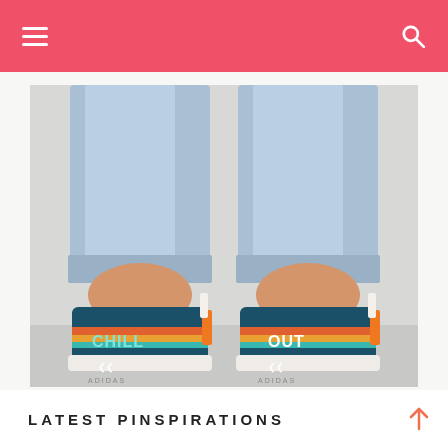[Figure (photo): Back view of a person wearing rolled-up light blue jeans and custom Adidas sneakers reading 'CHILL OUT' with a rainbow stripe design on the heel]
LATEST PINSPIRATIONS